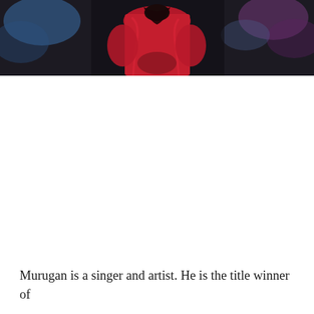[Figure (photo): Person wearing a red outfit with dark background and blurred colorful lights, photo cropped at top of page]
Murugan is a singer and artist. He is the title winner of